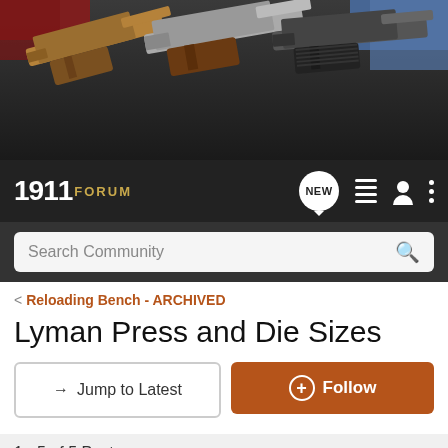[Figure (photo): Banner image showing three 1911-style pistols arranged on a dark background with colorful fabric in the upper corners]
1911 FORUM — navigation bar with NEW, list, user, and menu icons
Search Community
< Reloading Bench - ARCHIVED
Lyman Press and Die Sizes
→ Jump to Latest
+ Follow
1 - 5 of 5 Posts
Rick8888 · Registered
Joined Jun 20, 2000 · 73 Posts